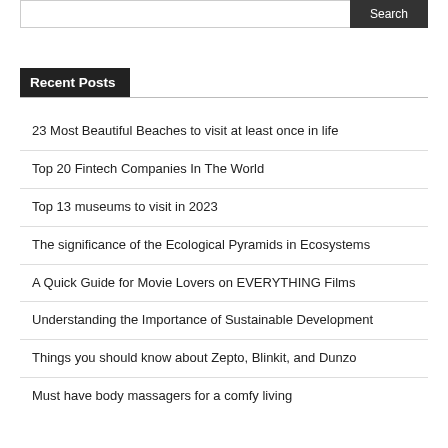Recent Posts
23 Most Beautiful Beaches to visit at least once in life
Top 20 Fintech Companies In The World
Top 13 museums to visit in 2023
The significance of the Ecological Pyramids in Ecosystems
A Quick Guide for Movie Lovers on EVERYTHING Films
Understanding the Importance of Sustainable Development
Things you should know about Zepto, Blinkit, and Dunzo
Must have body massagers for a comfy living